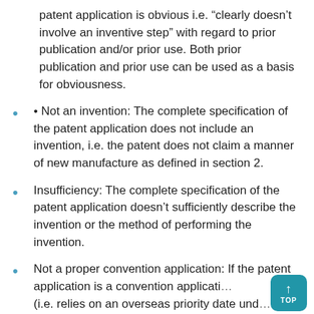patent application is obvious i.e. “clearly doesn’t involve an inventive step” with regard to prior publication and/or prior use. Both prior publication and prior use can be used as a basis for obviousness.
• Not an invention: The complete specification of the patent application does not include an invention, i.e. the patent does not claim a manner of new manufacture as defined in section 2.
Insufficiency: The complete specification of the patent application doesn’t sufficiently describe the invention or the method of performing the invention.
Not a proper convention application: If the patent application is a convention application (i.e. relies on an overseas priority date und…